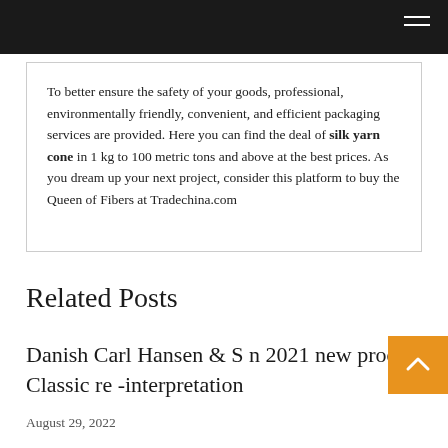To better ensure the safety of your goods, professional, environmentally friendly, convenient, and efficient packaging services are provided. Here you can find the deal of silk yarn cone in 1 kg to 100 metric tons and above at the best prices. As you dream up your next project, consider this platform to buy the Queen of Fibers at Tradechina.com
Related Posts
Danish Carl Hansen & S n 2021 new prod Classic re -interpretation
August 29, 2022